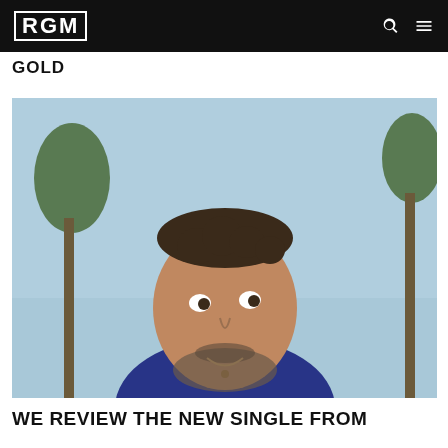RGM
GOLD
[Figure (photo): Close-up portrait of a middle-aged man with short spiky brown-grey hair and a short beard, wearing a navy blue shirt with a necklace, looking upward against a sky background with palm trees visible]
WE REVIEW THE NEW SINGLE FROM